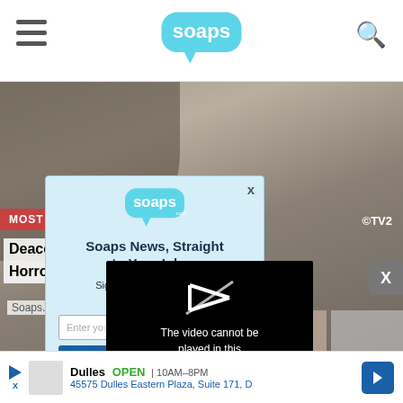soaps.com navigation header with hamburger menu and search icon
[Figure (screenshot): Background webpage showing a man's face, MOST POPULAR badge, CTV2 logo, headline 'Deacon's Dismay ... to Abject Horror as Sheila...' and Soaps.com source]
[Figure (screenshot): Modal popup with soaps.com logo, title 'Soaps News, Straight to Your Inbox', subtitle 'Sign up for the Soaps daily newsletter today.', email input field, and subscribe button]
[Figure (screenshot): Video player overlay showing error: 'The video cannot be played in this browser. (Error Code: 242632)']
Deacon's Dismay ... ns to Abject Horror as Sheila
Soaps.com
Soaps News, Straight to Your Inbox
Sign up for the Soaps daily newsletter today.
The video cannot be played in this browser. (Error Code: 242632)
Dulles OPEN | 10AM-8PM  45575 Dulles Eastern Plaza, Suite 171, D